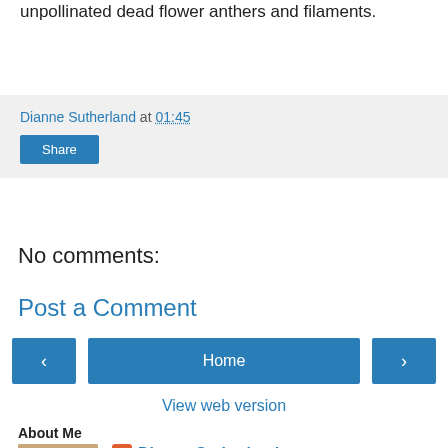unpollinated dead flower anthers and filaments.
Dianne Sutherland at 01:45
Share
No comments:
Post a Comment
‹
Home
›
View web version
About Me
[Figure (photo): Profile photo of Dianne Sutherland, a blonde woman]
Dianne Sutherland
Stone, Staffordshire, United Kingdom
Welcome to my botanical art musings. Here you'll find information on drawing and painting with topics from art